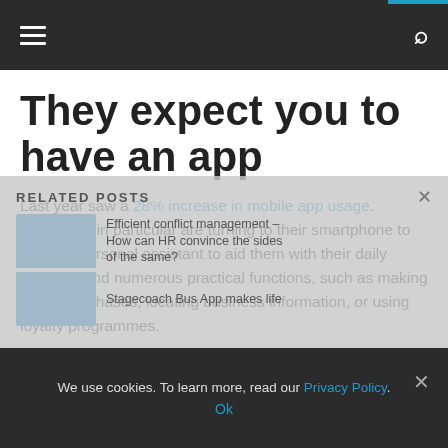Navigation bar with hamburger menu and search icon
They expect you to have an app
Last year saw a 28% increase in mobile app usage. Millennials in particular are turning to their smartphone to act as a personal assistant to aid them with their daily activities and numerous practical functions, such as making online purchases, locating business information, or using loyalty programmes.
RELATED POSTS
Efficient conflict management – How can HR convince the sides of the same?
Stagecoach Bus App makes life
We use cookies. To learn more, read our Privacy Policy. Ok